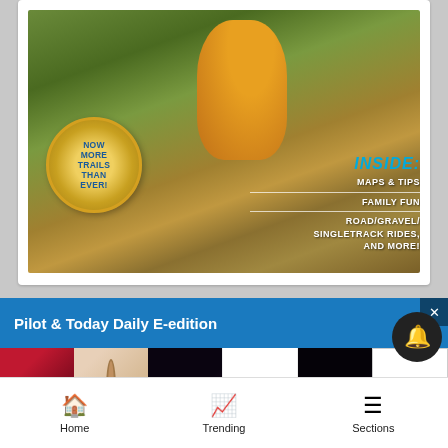[Figure (photo): Mountain biker riding down a trail through green forest vegetation with a gold badge overlay saying 'NOW MORE TRAILS THAN EVER!' and text overlay on right reading 'INSIDE: MAPS & TIPS, FAMILY FUN, ROAD/GRAVEL/SINGLETRACK RIDES, AND MORE!']
Pilot & Today Daily E-edition
[Figure (photo): Ulta Beauty advertisement strip showing makeup looks: lips, brush, eye shadow, Ulta logo, eye liner face, and SHOP NOW text]
Home   Trending   Sections